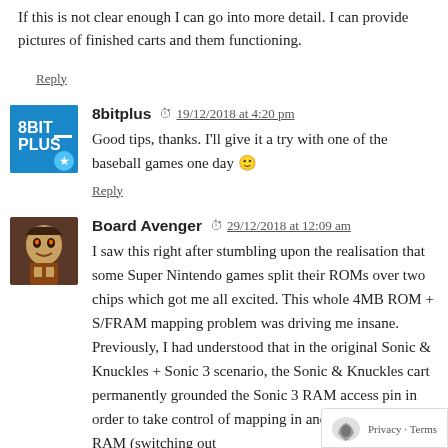If this is not clear enough I can go into more detail. I can provide pictures of finished carts and them functioning.
Reply
8bitplus  19/12/2018 at 4:20 pm
Good tips, thanks. I'll give it a try with one of the baseball games one day 🙂
Reply
Board Avenger  29/12/2018 at 12:09 am
I saw this right after stumbling upon the realisation that some Super Nintendo games split their ROMs over two chips which got me all excited. This whole 4MB ROM + S/FRAM mapping problem was driving me insane. Previously, I had understood that in the original Sonic & Knuckles + Sonic 3 scenario, the Sonic & Knuckles cart permanently grounded the Sonic 3 RAM access pin in order to take control of mapping in and out the ROM and RAM (switching out